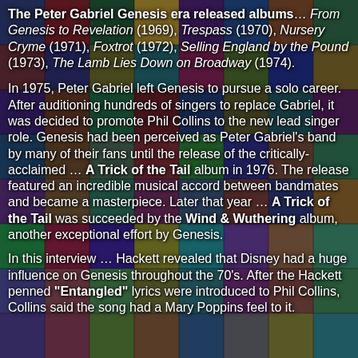[Figure (photo): Mosaic collage of Genesis album covers as background image]
The Peter Gabriel Genesis era released albums… From Genesis to Revelation (1969), Trespass (1970), Nursery Cryme (1971), Foxtrot (1972), Selling England by the Pound (1973), The Lamb Lies Down on Broadway (1974).
In 1975, Peter Gabriel left Genesis to pursue a solo career. After auditioning hundreds of singers to replace Gabriel, it was decided to promote Phil Collins to the new lead singer role. Genesis had been perceived as Peter Gabriel's band by many of their fans until the release of the critically-acclaimed … A Trick of the Tail album in 1976. The release featured an incredible musical accord between bandmates and became a masterpiece. Later that year … A Trick of the Tail was succeeded by the Wind & Wuthering album, another exceptional effort by Genesis.
In this interview … Hackett revealed that Disney had a huge influence on Genesis throughout the 70's. After the Hackett penned "Entangled" lyrics were introduced to Phil Collins, Collins said the song had a Mary Poppins feel to it.